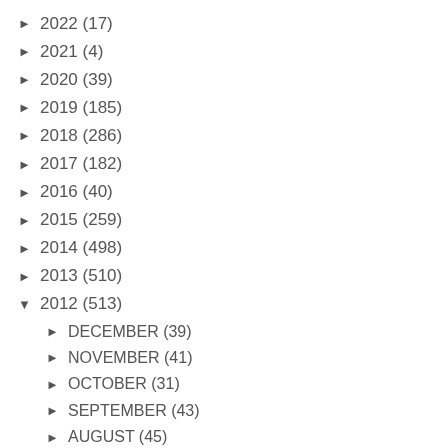► 2022 (17)
► 2021 (4)
► 2020 (39)
► 2019 (185)
► 2018 (286)
► 2017 (182)
► 2016 (40)
► 2015 (259)
► 2014 (498)
► 2013 (510)
▼ 2012 (513)
► DECEMBER (39)
► NOVEMBER (41)
► OCTOBER (31)
► SEPTEMBER (43)
► AUGUST (45)